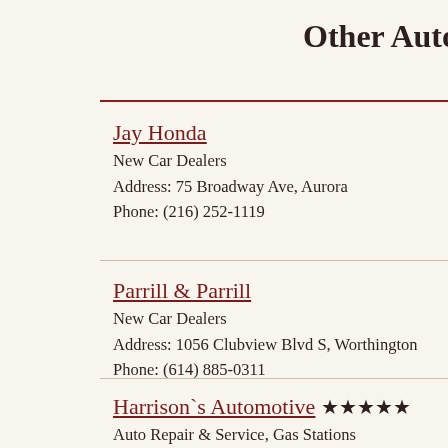Other Auto
Jay Honda
New Car Dealers
Address: 75 Broadway Ave, Aurora
Phone: (216) 252-1119
Parrill & Parrill
New Car Dealers
Address: 1056 Clubview Blvd S, Worthington
Phone: (614) 885-0311
Harrison`s Automotive ★★★★★
Auto Repair & Service, Gas Stations
Address: 430 N Main St, Union
Phone: (937) 845-8327